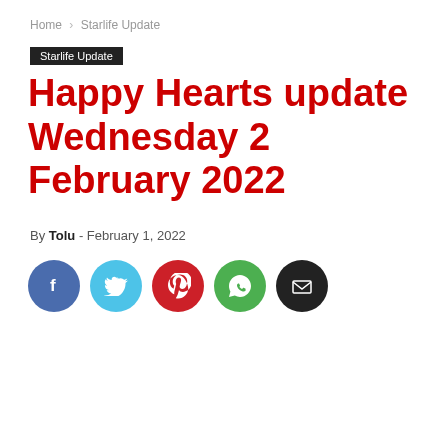Home › Starlife Update
Starlife Update
Happy Hearts update Wednesday 2 February 2022
By Tolu - February 1, 2022
[Figure (infographic): Social share icons: Facebook (blue), Twitter (cyan), Pinterest (red), WhatsApp (green), Email (black)]